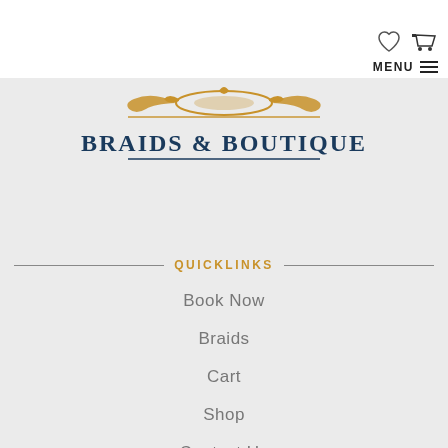[Figure (logo): Heart icon and shopping cart icon in top right, plus MENU hamburger button]
[Figure (logo): Braids & Boutique logo with gold ornamental design on grey background]
QUICKLINKS
Book Now
Braids
Cart
Shop
Contact Us